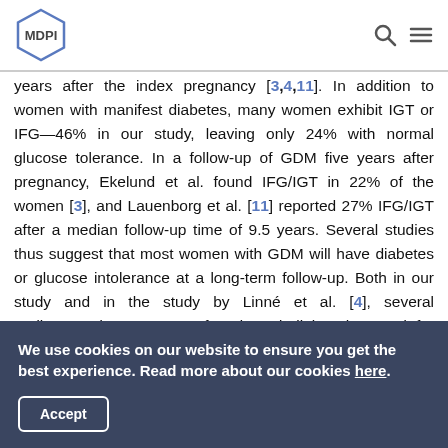MDPI
years after the index pregnancy [3,4,11]. In addition to women with manifest diabetes, many women exhibit IGT or IFG—46% in our study, leaving only 24% with normal glucose tolerance. In a follow-up of GDM five years after pregnancy, Ekelund et al. found IFG/IGT in 22% of the women [3], and Lauenborg et al. [11] reported 27% IFG/IGT after a median follow-up time of 9.5 years. Several studies thus suggest that most women with GDM will have diabetes or glucose intolerance at a long-term follow-up. Both in our study and in the study by Linné et al. [4], several undiagnosed cases were found, underlining the need for regular testing to detect diabetes. The results of the follow-up with 2 h 75 g OGTT thus show that GDM diagnosed using the Diabetic
We use cookies on our website to ensure you get the best experience. Read more about our cookies here.
Accept